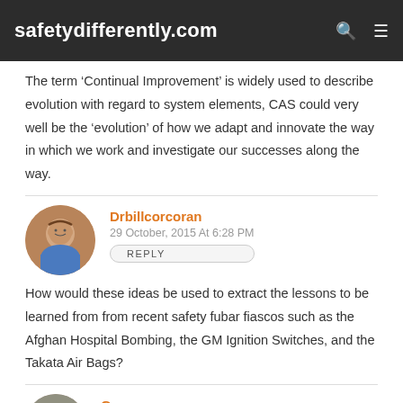safetydifferently.com
The term ‘Continual Improvement’ is widely used to describe evolution with regard to system elements, CAS could very well be the ‘evolution’ of how we adapt and innovate the way in which we work and investigate our successes along the way.
Drbillcorcoran
29 October, 2015 At 6:28 PM
REPLY
How would these ideas be used to extract the lessons to be learned from from recent safety fubar fiascos such as the Afghan Hospital Bombing, the GM Ignition Switches, and the Takata Air Bags?
Garyswong